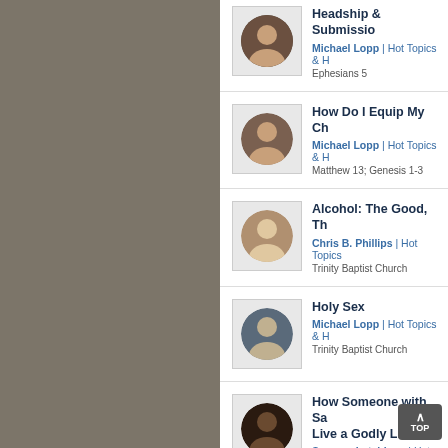Headship & Submission | Michael Lopp | Hot Topics & H... | Ephesians 5
How Do I Equip My Ch... | Michael Lopp | Hot Topics & H... | Matthew 13; Genesis 1-3
Alcohol: The Good, Th... | Chris B. Phillips | Hot Topics... | Trinity Baptist Church
Holy Sex | Michael Lopp | Hot Topics & H... | Trinity Baptist Church
How Someone with Sa... Live a Godly Life | Samson Latchison | Hot Topi... | Luke 15:11-31